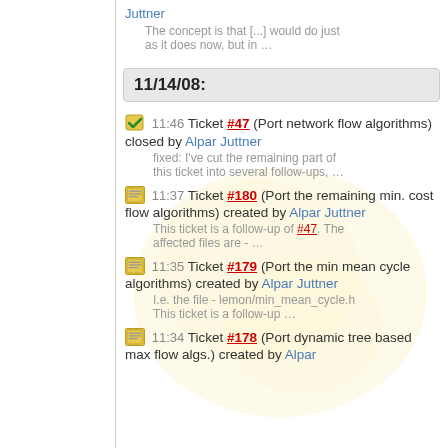Juttner
The concept is that [...] would do just as it does now, but in …
11/14/08:
11:46 Ticket #47 (Port network flow algorithms) closed by Alpar Juttner
fixed: I've cut the remaining part of this ticket into several follow-ups, …
11:37 Ticket #180 (Port the remaining min. cost flow algorithms) created by Alpar Juttner
This ticket is a follow-up of #47. The affected files are - …
11:35 Ticket #179 (Port the min mean cycle algorithms) created by Alpar Juttner
I.e. the file - lemon/min_mean_cycle.h
This ticket is a follow-up …
11:34 Ticket #178 (Port dynamic tree based max flow algs.) created by Alpar